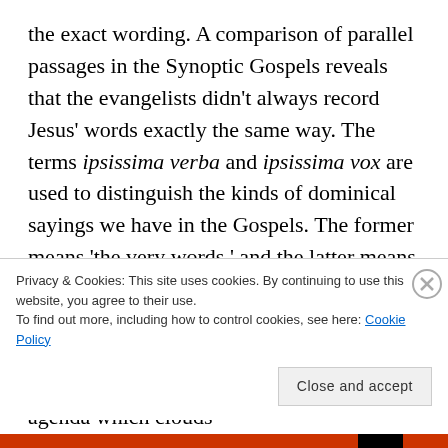the exact wording. A comparison of parallel passages in the Synoptic Gospels reveals that the evangelists didn't always record Jesus' words exactly the same way. The terms ipsissima verba and ipsissima vox are used to distinguish the kinds of dominical sayings we have in the Gospels. The former means 'the very words,' and the latter means 'the very voice.' That is, the exact words or the essential thought. There have been attempts to harmonize these accounts, but they are highly motivated by a theological agenda which clouds
Privacy & Cookies: This site uses cookies. By continuing to use this website, you agree to their use.
To find out more, including how to control cookies, see here: Cookie Policy
Close and accept